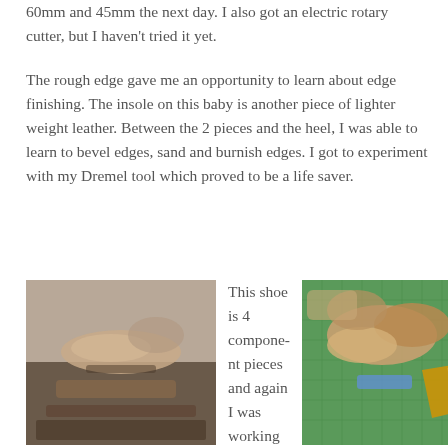60mm and 45mm the next day. I also got an electric rotary cutter, but I haven't tried it yet.
The rough edge gave me an opportunity to learn about edge finishing. The insole on this baby is another piece of lighter weight leather. Between the 2 pieces and the heel, I was able to learn to bevel edges, sand and burnish edges. I got to experiment with my Dremel tool which proved to be a life saver.
[Figure (photo): Photo of leather shoe pieces laid out, showing glued components - Pixie Glued]
This shoe is 4 component pieces and again I was working with all
[Figure (photo): Photo of lasted shoe on green cutting mat with wooden last and golden heel piece - Pixie Lasted]
Pixie Glued
Pixie Lasted